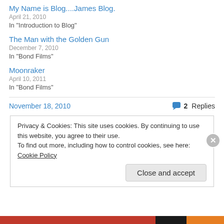My Name is Blog....James Blog.
April 21, 2010
In "Introduction to Blog"
The Man with the Golden Gun
December 7, 2010
In "Bond Films"
Moonraker
April 10, 2011
In "Bond Films"
November 18, 2010
2 Replies
Privacy & Cookies: This site uses cookies. By continuing to use this website, you agree to their use.
To find out more, including how to control cookies, see here: Cookie Policy
Close and accept